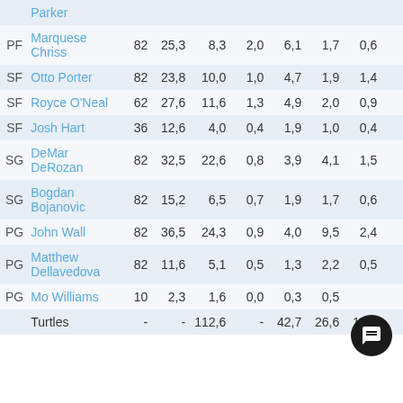| POS | Player | G | MIN | PTS | AST | REB | STL | BLK |  |
| --- | --- | --- | --- | --- | --- | --- | --- | --- | --- |
|  | Parker |  |  |  |  |  |  |  |  |
| PF | Marquese Chriss | 82 | 25,3 | 8,3 | 2,0 | 6,1 | 1,7 | 0,6 | 1 |
| SF | Otto Porter | 82 | 23,8 | 10,0 | 1,0 | 4,7 | 1,9 | 1,4 | 0 |
| SF | Royce O'Neal | 62 | 27,6 | 11,6 | 1,3 | 4,9 | 2,0 | 0,9 | 0 |
| SF | Josh Hart | 36 | 12,6 | 4,0 | 0,4 | 1,9 | 1,0 | 0,4 | 0 |
| SG | DeMar DeRozan | 82 | 32,5 | 22,6 | 0,8 | 3,9 | 4,1 | 1,5 | 0 |
| SG | Bogdan Bojanovic | 82 | 15,2 | 6,5 | 0,7 | 1,9 | 1,7 | 0,6 | 0 |
| PG | John Wall | 82 | 36,5 | 24,3 | 0,9 | 4,0 | 9,5 | 2,4 | 0 |
| PG | Matthew Dellavedova | 82 | 11,6 | 5,1 | 0,5 | 1,3 | 2,2 | 0,5 | 0 |
| PG | Mo Williams | 10 | 2,3 | 1,6 | 0,0 | 0,3 | 0,5 |  | 0 |
|  | Turtles | - | - | 112,6 | - | 42,7 | 26,6 | 10,1 | 4 |